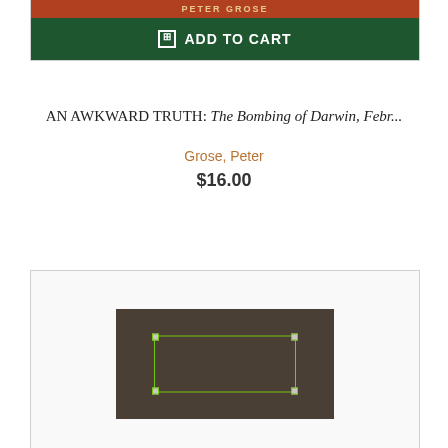[Figure (screenshot): Top portion of a book cover with orange/red background and 'PETER GROSE' author text in gold letters]
ADD TO CART
AN AWKWARD TRUTH: The Bombing of Darwin, Febr...
Grose, Peter
$16.00
[Figure (photo): Dark brownish book cover with a selection rectangle overlay showing editing handles at corners]